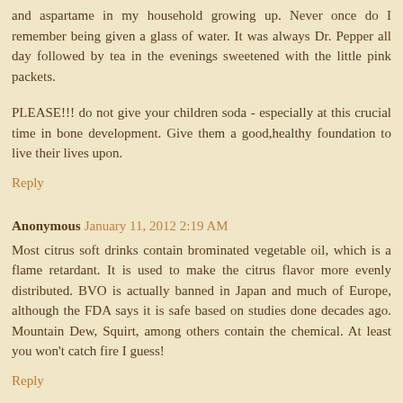and aspartame in my household growing up. Never once do I remember being given a glass of water. It was always Dr. Pepper all day followed by tea in the evenings sweetened with the little pink packets.
PLEASE!!! do not give your children soda - especially at this crucial time in bone development. Give them a good,healthy foundation to live their lives upon.
Reply
Anonymous January 11, 2012 2:19 AM
Most citrus soft drinks contain brominated vegetable oil, which is a flame retardant. It is used to make the citrus flavor more evenly distributed. BVO is actually banned in Japan and much of Europe, although the FDA says it is safe based on studies done decades ago. Mountain Dew, Squirt, among others contain the chemical. At least you won't catch fire I guess!
Reply